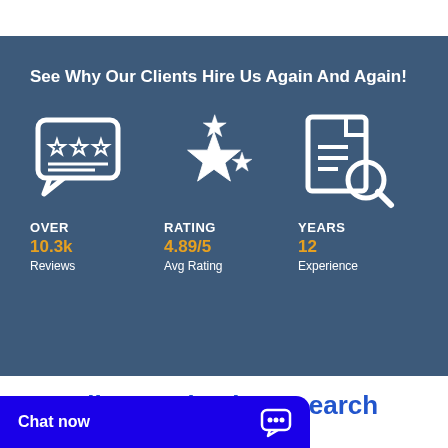See Why Our Clients Hire Us Again And Again!
[Figure (infographic): Three statistics displayed with icons: OVER 10.3k Reviews (speech bubble with 3 stars icon), RATING 4.89/5 Avg Rating (star rating icon), YEARS 12 Experience (document with magnifying glass icon)]
Elite Academic Research
ou:
Chat now